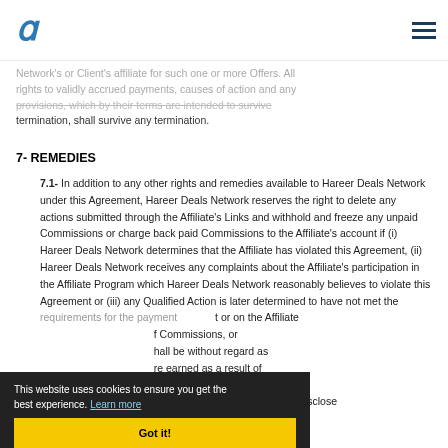Hareer Deals Network logo and navigation
Network's or Client's affiliate for such one or more Offers. All rights to validly accrued payments, causes of action and any provisions, which by their terms are intended to survive termination, shall survive any termination.
7- REMEDIES
7.1- In addition to any other rights and remedies available to Hareer Deals Network under this Agreement, Hareer Deals Network reserves the right to delete any actions submitted through the Affiliate's Links and withhold and freeze any unpaid Commissions or charge back paid Commissions to the Affiliate's account if (i) Hareer Deals Network determines that the Affiliate has violated this Agreement, (ii) Hareer Deals Network receives any complaints about the Affiliate's participation in the Affiliate Program which Hareer Deals Network reasonably believes to violate this Agreement or (iii) any Qualified Action is later determined to have not met the requirements for the payment or on the Affiliate t or on the Affiliate f Commissions, or hall be without regard as re earned as a result of reach of this Agreement. Hareer Deals Network reserves the right to disclose
This website uses cookies to ensure you get the best experience. Learn more Got it!